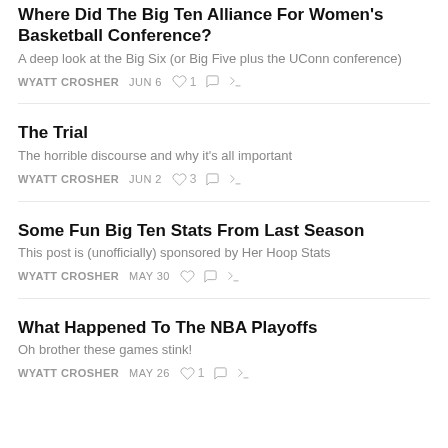Where Did The Big Ten Alliance For Women's Basketball Conference?
A deep look at the Big Six (or Big Five plus the UConn conference)
WYATT CROSHER  JUN 6  ♡1  ○  ↗
The Trial
The horrible discourse and why it's all important
WYATT CROSHER  JUN 2  ♡3  ○  ↗
Some Fun Big Ten Stats From Last Season
This post is (unofficially) sponsored by Her Hoop Stats
WYATT CROSHER  MAY 30  ♡  ○  ↗
What Happened To The NBA Playoffs
Oh brother these games stink!
WYATT CROSHER  MAY 26  ♡1  ○  ↗